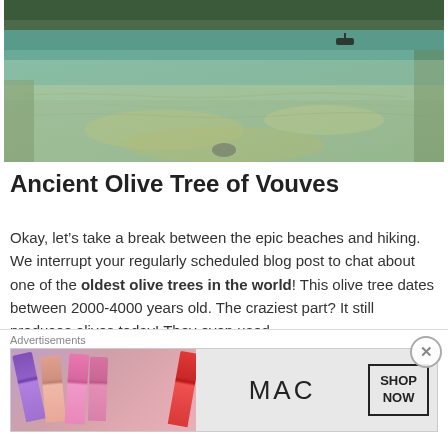[Figure (photo): Aerial/ground-level view of a clear shallow turquoise bay with rocky underwater terrain visible, mountains with green trees in background, a small boat visible on the water]
Ancient Olive Tree of Vouves
Okay, let’s take a break between the epic beaches and hiking. We interrupt your regularly scheduled blog post to chat about one of the oldest olive trees in the world! This olive tree dates between 2000-4000 years old. The craziest part? It still produces olives today! They even used
Advertisements
[Figure (photo): MAC Cosmetics advertisement banner showing colorful lipsticks on left side, MAC logo in center, and SHOP NOW button in a box on the right]